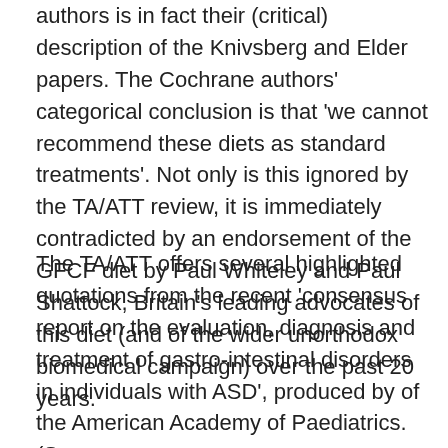authors is in fact their (critical) description of the Knivsberg and Elder papers. The Cochrane authors' categorical conclusion is that 'we cannot recommend these diets as standard treatments'. Not only is this ignored by the TA/ATT review, it is immediately contradicted by an endorsement of the GFCF diet by Paul Whiteley and Paul Shattock, Britain's leading advocates of this diet (and of the wider unorthodox biomedical campaign) over the past 20 years.
The TA/ATT offers several highlighted quotations from the recent 'consensus report on the evaluation, diagnosis and treatment of gastro-intestinal disorders in individuals with ASD', produced by of the American Academy of Paediatrics. (See: http://www.ncbi.nlm.nih.gov/pubmed/20048083) Yet it neglects prominent statements from this report which